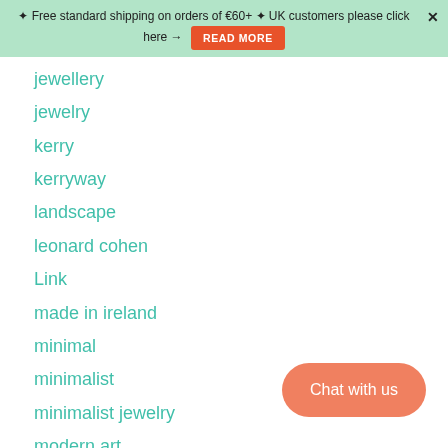✦ Free standard shipping on orders of €60+ ✦ UK customers please click here → READ MORE
jewellery
jewelry
kerry
kerryway
landscape
leonard cohen
Link
made in ireland
minimal
minimalist
minimalist jewelry
modern art